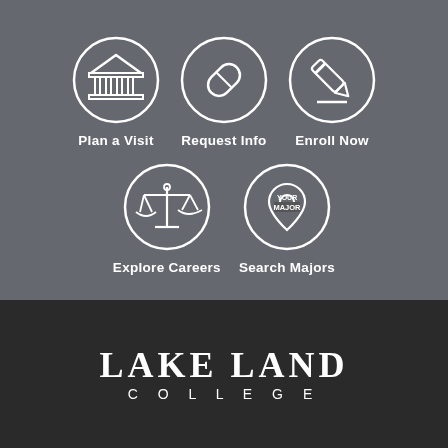[Figure (infographic): Gray background section with five circular icon buttons arranged in two rows: Plan a Visit (building/columns icon), Request Info (pill/capsule icon), Enroll Now (pencil icon) in the top row; Explore Careers (scales of justice icon) and Search Majors (YOUR MAJOR location pin icon) in the bottom row. Each icon is inside a white circle outline on gray background.]
Plan a Visit
Request Info
Enroll Now
Explore Careers
Search Majors
[Figure (logo): Lake Land College logo in white serif text on dark/black background. Large text reads LAKE LAND with smaller text below reading COLLEGE, with wide letter spacing.]